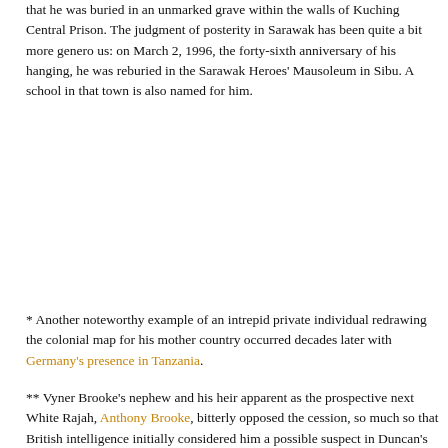that he was buried in an unmarked grave within the walls of Kuching Central Prison. The judgment of posterity in Sarawak has been quite a bit more generous: on March 2, 1996, the forty-sixth anniversary of his hanging, he was reburied in the Sarawak Heroes' Mausoleum in Sibu. A school in that town is also named for him.
* Another noteworthy example of an intrepid private individual redrawing the colonial map for his mother country occurred decades later with Germany's presence in Tanzania.
** Vyner Brooke's nephew and his heir apparent as the prospective next White Rajah, Anthony Brooke, bitterly opposed the cession, so much so that British intelligence initially considered him a possible suspect in Duncan's murder.